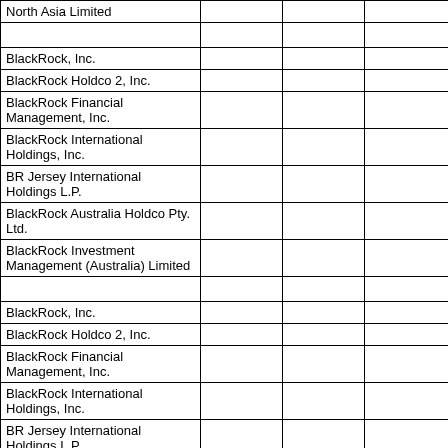|  |  |  |  |
| --- | --- | --- | --- |
| North Asia Limited |  |  |  |
|  |  |  |  |
| BlackRock, Inc. |  |  |  |
| BlackRock Holdco 2, Inc. |  |  |  |
| BlackRock Financial Management, Inc. |  |  |  |
| BlackRock International Holdings, Inc. |  |  |  |
| BR Jersey International Holdings L.P. |  |  |  |
| BlackRock Australia Holdco Pty. Ltd. |  |  |  |
| BlackRock Investment Management (Australia) Limited |  |  |  |
|  |  |  |  |
| BlackRock, Inc. |  |  |  |
| BlackRock Holdco 2, Inc. |  |  |  |
| BlackRock Financial Management, Inc. |  |  |  |
| BlackRock International Holdings, Inc. |  |  |  |
| BR Jersey International Holdings L.P. |  |  |  |
| BlackRock Holdco 3, LLC |  |  |  |
| BlackRock Canada Holdings LP |  |  |  |